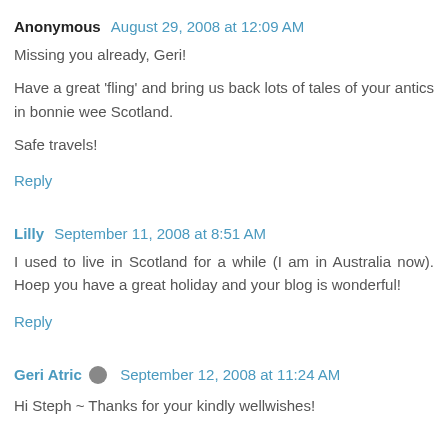Anonymous  August 29, 2008 at 12:09 AM
Missing you already, Geri!

Have a great 'fling' and bring us back lots of tales of your antics in bonnie wee Scotland.

Safe travels!
Reply
Lilly  September 11, 2008 at 8:51 AM
I used to live in Scotland for a while (I am in Australia now). Hoep you have a great holiday and your blog is wonderful!
Reply
Geri Atric  September 12, 2008 at 11:24 AM
Hi Steph ~ Thanks for your kindly wellwishes!